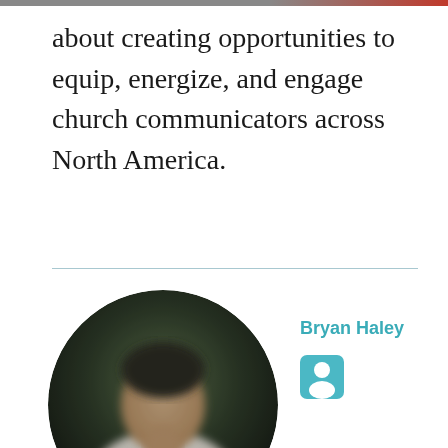about creating opportunities to equip, energize, and engage church communicators across North America.
[Figure (photo): Circular portrait photo of a person with dark background, blurred/pixelated for privacy]
Bryan Haley
[Figure (illustration): Teal/blue person silhouette icon in a rounded square]